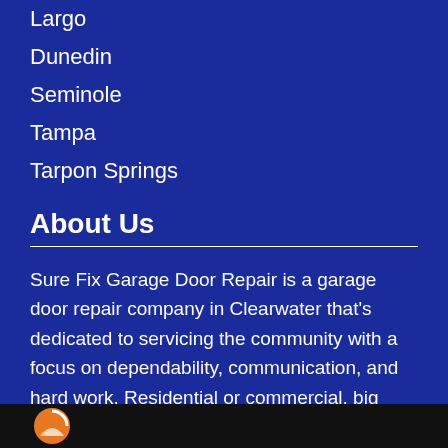Largo
Dunedin
Seminole
Tampa
Tarpon Springs
About Us
Sure Fix Garage Door Repair is a garage door repair company in Clearwater that's dedicated to servicing the community with a focus on dependability, communication, and hard work. Residential or commercial, big business or small business, Sure Fix is a sure thing!
[Figure (logo): Logo image strip at bottom of page with dark background and partial circular orange logo icon]